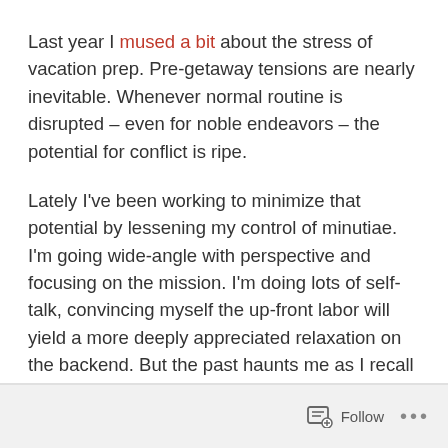Last year I mused a bit about the stress of vacation prep. Pre-getaway tensions are nearly inevitable. Whenever normal routine is disrupted – even for noble endeavors – the potential for conflict is ripe.
Lately I've been working to minimize that potential by lessening my control of minutiae. I'm going wide-angle with perspective and focusing on the mission. I'm doing lots of self-talk, convincing myself the up-front labor will yield a more deeply appreciated relaxation on the backend. But the past haunts me as I recall times of being wound-up long after the last grain of beach sand was shaken from pant pockets.
Follow ...